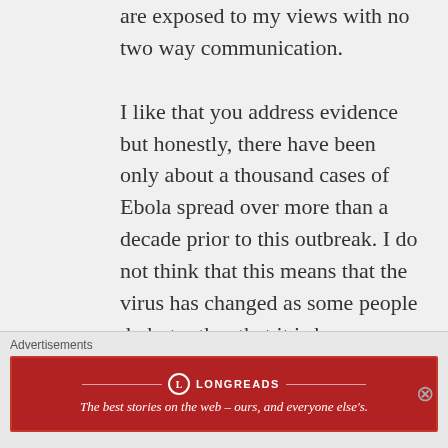are exposed to my views with no two way communication.

I like that you address evidence but honestly, there have been only about a thousand cases of Ebola spread over more than a decade prior to this outbreak. I do not think that this means that the virus has changed as some people do but rather that it is has come to the big cities. The point of entry from
Advertisements
[Figure (other): Advertisement banner for Longreads. Red background with Longreads logo and tagline: 'The best stories on the web — ours, and everyone else's.']